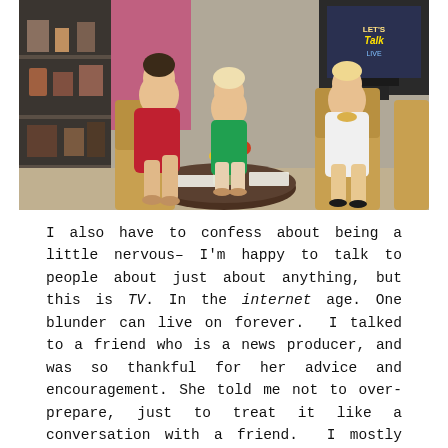[Figure (photo): Three women seated in a TV talk show studio setting around a round coffee table with flowers. One woman wears a red dress, one wears a green top, and one wears a white dress. A bookshelf and a TV monitor showing 'Let's Talk Live' are visible in the background.]
I also have to confess about being a little nervous– I'm happy to talk to people about just about anything, but this is TV. In the internet age. One blunder can live on forever. I talked to a friend who is a news producer, and was so thankful for her advice and encouragement. She told me not to over-prepare, just to treat it like a conversation with a friend. I mostly tried to